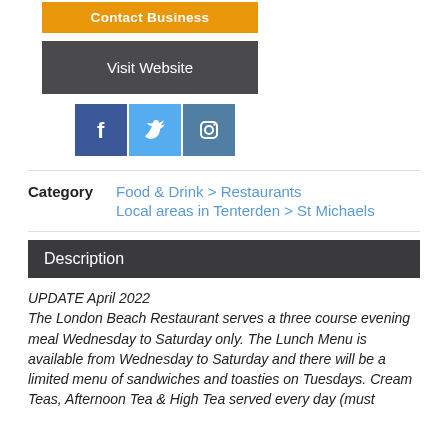[Figure (other): Orange 'Contact Business' button]
[Figure (other): Dark grey 'Visit Website' button]
[Figure (other): Social media icons: Facebook (blue), Twitter (light blue), Instagram (dark blue)]
Category   Food & Drink > Restaurants
Local areas in Tenterden > St Michaels
Description
UPDATE April 2022
The London Beach Restaurant serves a three course evening meal Wednesday to Saturday only. The Lunch Menu is available from Wednesday to Saturday and there will be a limited menu of sandwiches and toasties on Tuesdays. Cream Teas, Afternoon Tea & High Tea served every day (must